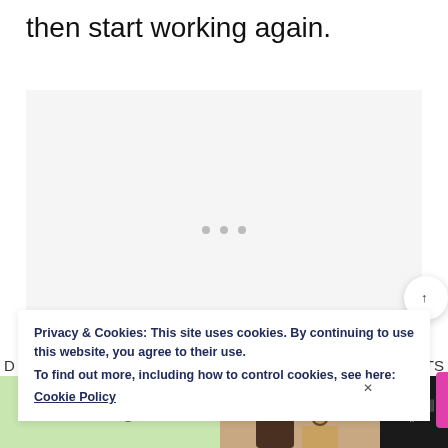then start working again.
[Figure (other): A light gray placeholder image area with three small gray dots centered in the lower middle portion, indicating a loading or carousel image placeholder.]
Privacy & Cookies: This site uses cookies. By continuing to use this website, you agree to their use.
To find out more, including how to control cookies, see here: Cookie Policy
[Figure (photo): Advertisement banner at the bottom. Left section has light green background with '#AloneTogether' text in green. Center shows a photo of two people (adult male and child) waving at a screen. Right section is dark/black with a logo or text.]